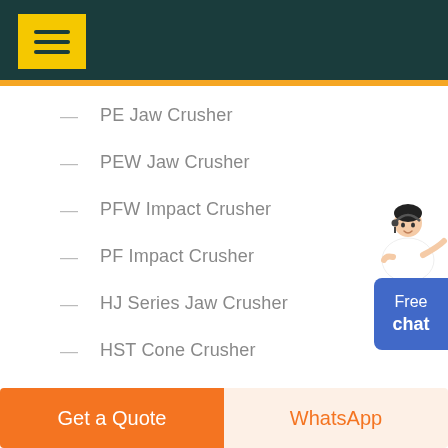Navigation header with menu button
PE Jaw Crusher
PEW Jaw Crusher
PFW Impact Crusher
PF Impact Crusher
HJ Series Jaw Crusher
HST Cone Crusher
HPT Cone Crusher
[Figure (illustration): Person in white with headset pointing right, above Free chat button]
Free chat
Get a Quote
WhatsApp